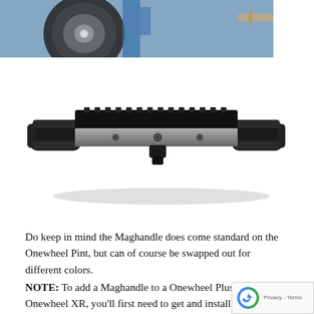[Figure (photo): Partial photo of a wheel/hub mechanism with blue and metallic components visible, cropped at top of page]
[Figure (photo): Product photo of a Maghandle — a black handlebar accessory with rubber grips on each end and a metallic center rail with screws, shown on white background]
Do keep in mind the Maghandle does come standard on the Onewheel Pint, but can of course be swapped out for different colors.
NOTE: To add a Maghandle to a Onewheel Plus or Onewheel XR, you'll first need to get and install a Maghandle Mount. The Maghandle and the